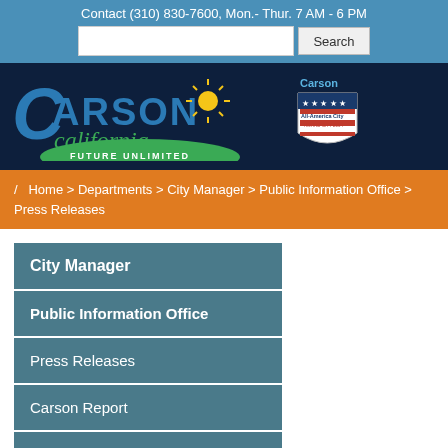Contact (310) 830-7600, Mon.- Thur. 7 AM - 6 PM
[Figure (logo): Carson California Future Unlimited logo with All-America City shield badge]
/ Home > Departments > City Manager > Public Information Office > Press Releases
City Manager
Public Information Office
Press Releases
Carson Report
Community Services Guide
Special Information Directory